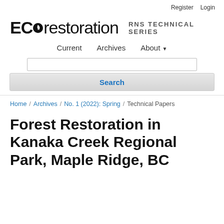Register  Login
[Figure (logo): ECOrestoration logo with leaf icon, followed by RNS TECHNICAL SERIES text]
Current   Archives   About
Search
Home / Archives / No. 1 (2022): Spring / Technical Papers
Forest Restoration in Kanaka Creek Regional Park, Maple Ridge, BC